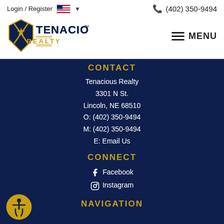Login / Register  (402) 350-9494
[Figure (logo): Tenacious Realty logo with shield emblem and gold/navy text]
CONTACT
Tenacious Realty
3301 N St.
Lincoln, NE 68510
O: (402) 350-9494
M: (402) 350-9494
E: Email Us
CONNECT
Facebook
Instagram
NAVIGATION